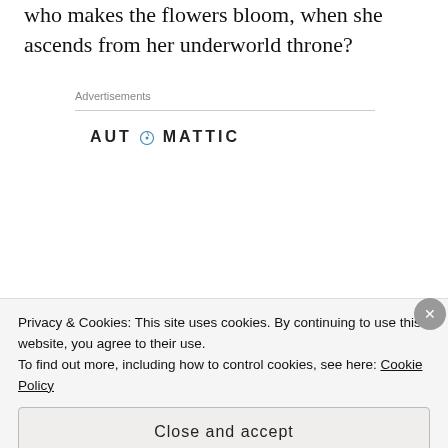who makes the flowers bloom, when she ascends from her underworld throne?
Advertisements
[Figure (logo): Automattic logo with compass icon]
[Figure (infographic): Automattic job ad: Build a better web and a better world. Apply button with photo of a person thinking.]
Privacy & Cookies: This site uses cookies. By continuing to use this website, you agree to their use.
To find out more, including how to control cookies, see here: Cookie Policy
Close and accept